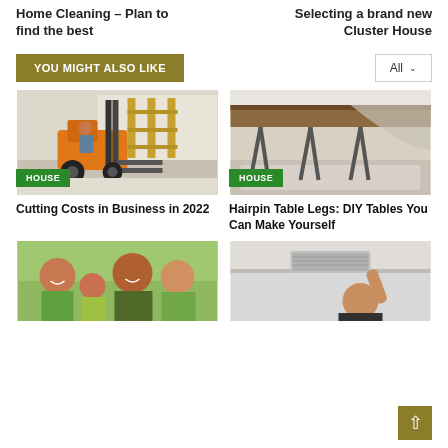Home Cleaning – Plan to find the best
Selecting a brand new Cluster House
YOU MIGHT ALSO LIKE
All
[Figure (photo): Orange forklift in a warehouse with shelving in the background]
HOUSE
Cutting Costs in Business in 2022
[Figure (photo): Close-up of hairpin table legs on a wooden table with a rug underneath]
HOUSE
Hairpin Table Legs: DIY Tables You Can Make Yourself
[Figure (photo): Family of four smiling outdoors]
[Figure (photo): Person inspecting HVAC or ceiling vent in kitchen]